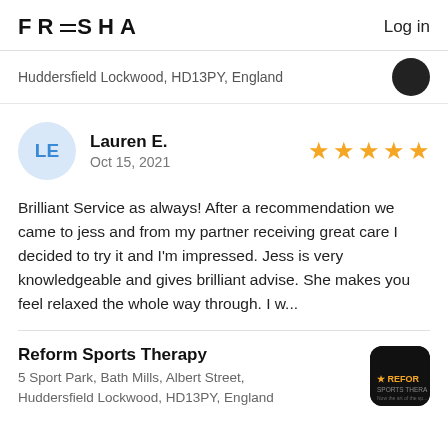FRESHA  Log in
Huddersfield Lockwood, HD13PY, England
Lauren E.
Oct 15, 2021
Brilliant Service as always! After a recommendation we came to jess and from my partner receiving great care I decided to try it and I'm impressed. Jess is very knowledgeable and gives brilliant advise. She makes you feel relaxed the whole way through. I w...
Reform Sports Therapy
5 Sport Park, Bath Mills, Albert Street, Huddersfield Lockwood, HD13PY, England